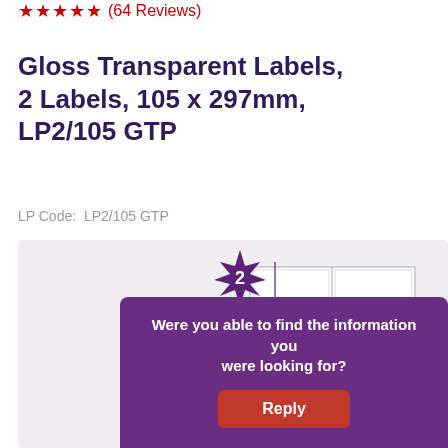★★★★★ (64 Reviews)
Gloss Transparent Labels, 2 Labels, 105 x 297mm, LP2/105 GTP
LP Code: LP2/105 GTP
[Figure (illustration): Product label layout diagram showing 2 labels on a sheet with a purple star badge showing the number 2]
Were you able to find the information you were looking for?
Reply